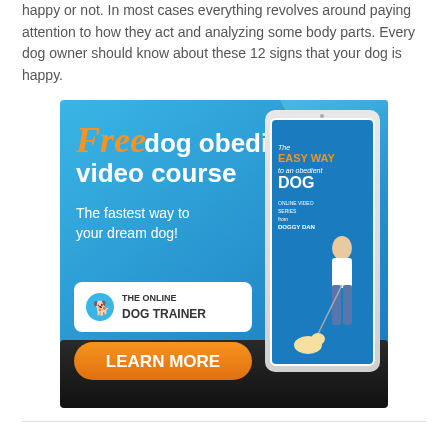happy or not. In most cases everything revolves around paying attention to how they act and analyzing some body parts. Every dog owner should know about these 12 signs that your dog is happy.
[Figure (photo): Advertisement banner for 'The Online Dog Trainer' featuring text 'Free dog obedience video course - The fastest way to your dream dog!' with an orange LEARN MORE button and an image of a tablet showing 'The Easy Way to an Obedient Dog' book cover with a woman training a dog.]